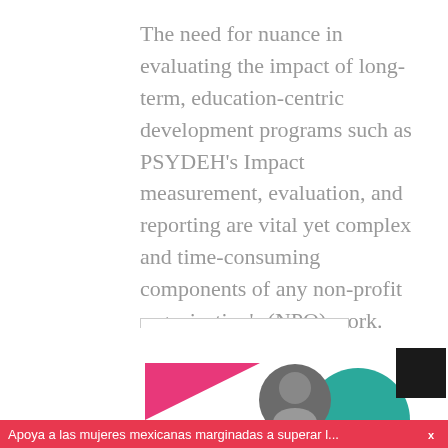The need for nuance in evaluating the impact of long-term, education-centric development programs such as PSYDEH's Impact measurement, evaluation, and reporting are vital yet complex and time-consuming components of any non-profit organization's (NPO) work. Funders rightly ask organizations to demonstrate positive impact in order to justify continued support; yet, this puts pressure on NPOs to [...]
CONTINUE READING
[Figure (illustration): Decorative section at bottom of page: pink triangle shape on left, circular photo in center, teal semicircle on right, black square in corner, and a red banner at the bottom reading 'Apoya a las mujeres mexicanas marginadas a superar l...' with an X close button.]